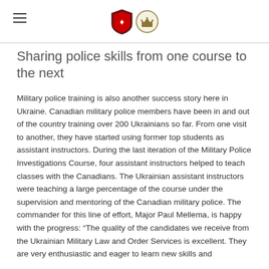[hamburger menu icon] [Canadian Armed Forces logos]
Sharing police skills from one course to the next
Military police training is also another success story here in Ukraine. Canadian military police members have been in and out of the country training over 200 Ukrainians so far. From one visit to another, they have started using former top students as assistant instructors. During the last iteration of the Military Police Investigations Course, four assistant instructors helped to teach classes with the Canadians. The Ukrainian assistant instructors were teaching a large percentage of the course under the supervision and mentoring of the Canadian military police. The commander for this line of effort, Major Paul Mellema, is happy with the progress: “The quality of the candidates we receive from the Ukrainian Military Law and Order Services is excellent. They are very enthusiastic and eager to learn new skills and